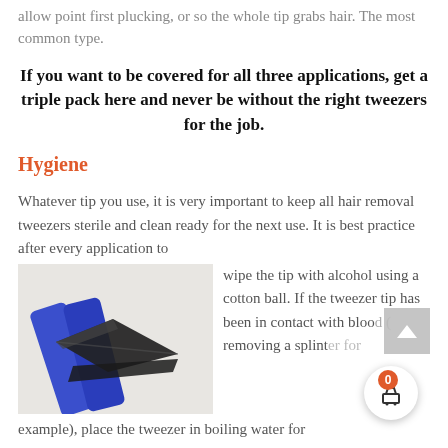allow point first plucking, or so the whole tip grabs hair. The most common type.
If you want to be covered for all three applications, get a triple pack here and never be without the right tweezers for the job.
Hygiene
Whatever tip you use, it is very important to keep all hair removal tweezers sterile and clean ready for the next use. It is best practice after every application to wipe the tip with alcohol using a cotton ball. If the tweezer tip has been in contact with blood (removing a splinter for example), place the tweezer in boiling water for
[Figure (photo): Close-up photo of blue-handled tweezers with a flat/slanted dark metal tip, shown against a light background.]